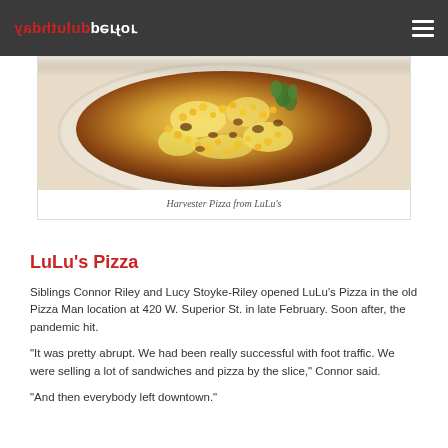perfect duluthday
[Figure (photo): Close-up photo of Harvester Pizza from LuLu's — a baked pizza with golden cheese, corn, and herbs in a white dish]
Harvester Pizza from LuLu's
LuLu's Pizza
Siblings Connor Riley and Lucy Stoyke-Riley opened LuLu's Pizza in the old Pizza Man location at 420 W. Superior St. in late February. Soon after, the pandemic hit.
“It was pretty abrupt. We had been really successful with foot traffic. We were selling a lot of sandwiches and pizza by the slice,” Connor said.
“And then everybody left downtown.”